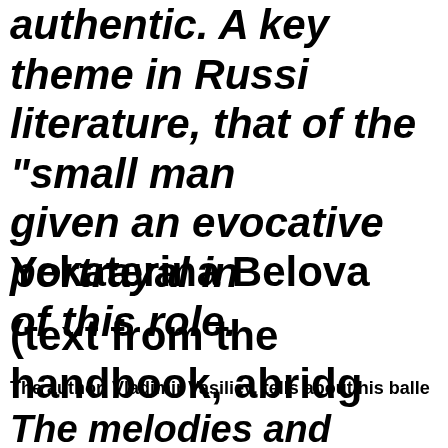authentic. A key theme in Russian literature, that of the "small man", given an evocative portrayal in ... of this role.
Yekaterina Belova
(text from the handbook, abridg...
The author, Vladimir Vasiliev, tells about his balle...
The melodies and rhythm of a li... which without hearing we sense...